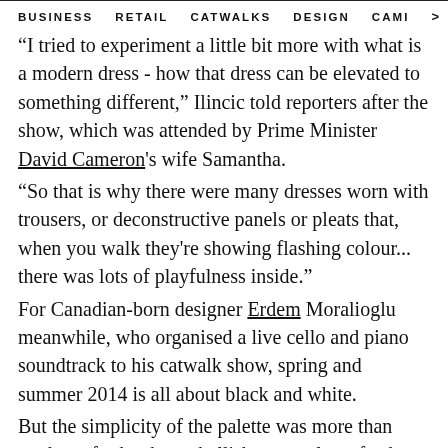BUSINESS   RETAIL   CATWALKS   DESIGN   CAMI  >
"I tried to experiment a little bit more with what is a modern dress - how that dress can be elevated to something different," Ilincic told reporters after the show, which was attended by Prime Minister David Cameron's wife Samantha.
"So that is why there were many dresses worn with trousers, or deconstructive panels or pleats that, when you walk they're showing flashing colour... there was lots of playfulness inside."
For Canadian-born designer Erdem Moralioglu meanwhile, who organised a live cello and piano soundtrack to his catwalk show, spring and summer 2014 is all about black and white.
But the simplicity of the palette was more than made up for by the embellishments - lace, feathers, applique - that